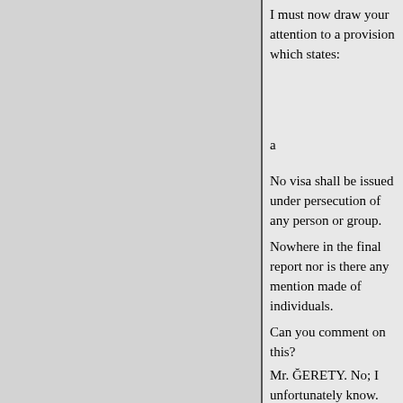I must now draw your attention to a provision which states:
a
No visa shall be issued under persecution of any person or group.
Nowhere in the final report nor is there any mention made of individuals.
Can you comment on this?
Mr. ĞERETY. No; I unfortunately know.
Mr. EILBERG. Mr. Rieger, please.
Mr. GERETY. Why didn't we mention the Refugee Relief Act.
Mr. EILBERG. Do you have any
Mr. GERETY. We didn't say how